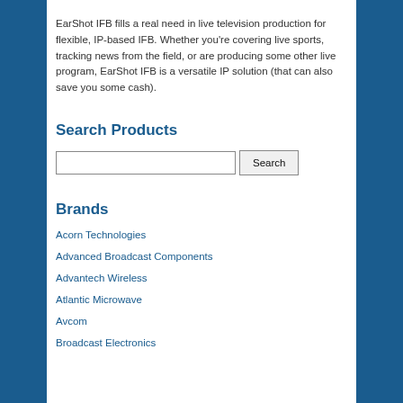EarShot IFB fills a real need in live television production for flexible, IP-based IFB. Whether you're covering live sports, tracking news from the field, or are producing some other live program, EarShot IFB is a versatile IP solution (that can also save you some cash).
Search Products
Brands
Acorn Technologies
Advanced Broadcast Components
Advantech Wireless
Atlantic Microwave
Avcom
Broadcast Electronics